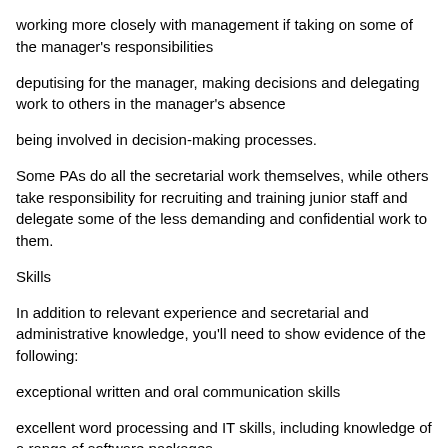working more closely with management if taking on some of the manager's responsibilities
deputising for the manager, making decisions and delegating work to others in the manager's absence
being involved in decision-making processes.
Some PAs do all the secretarial work themselves, while others take responsibility for recruiting and training junior staff and delegate some of the less demanding and confidential work to them.
Skills
In addition to relevant experience and secretarial and administrative knowledge, you'll need to show evidence of the following:
exceptional written and oral communication skills
excellent word processing and IT skills, including knowledge of a range of software packages